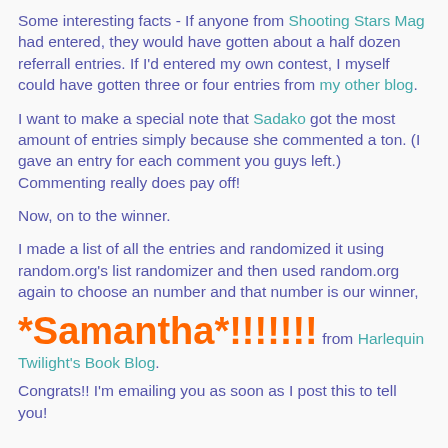Some interesting facts - If anyone from Shooting Stars Mag had entered, they would have gotten about a half dozen referrall entries. If I'd entered my own contest, I myself could have gotten three or four entries from my other blog.
I want to make a special note that Sadako got the most amount of entries simply because she commented a ton. (I gave an entry for each comment you guys left.) Commenting really does pay off!
Now, on to the winner.
I made a list of all the entries and randomized it using random.org's list randomizer and then used random.org again to choose an number and that number is our winner,
*Samantha*!!!!!!! from Harlequin Twilight's Book Blog.
Congrats!! I'm emailing you as soon as I post this to tell you!